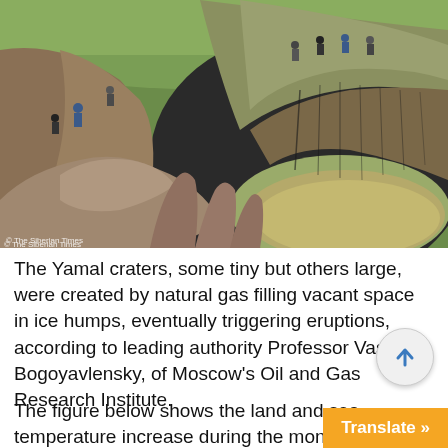[Figure (photo): A large crater/sinkhole in the Yamal peninsula, Russia. People stand at the rim of a deep, circular hole in the earth. The walls show layered permafrost and dark soil. Muddy water fills the bottom. Rocky debris is in the foreground. Green grass/tundra visible in the background.]
© The Siberian Times
The Yamal craters, some tiny but others large, were created by natural gas filling vacant space in ice humps, eventually triggering eruptions, according to leading authority Professor Vasily Bogoyavlensky, of Moscow's Oil and Gas Research Institute.
The figure below shows the land and sea temperature increase during the month of March 20